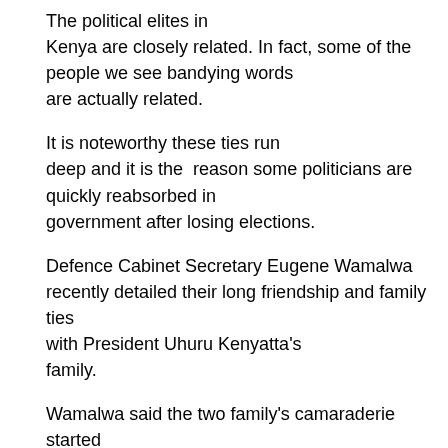The political elites in Kenya are closely related. In fact, some of the people we see bandying words are actually related.
It is noteworthy these ties run deep and it is the reason some politicians are quickly reabsorbed in government after losing elections.
Defence Cabinet Secretary Eugene Wamalwa recently detailed their long friendship and family ties with President Uhuru Kenyatta's family.
Wamalwa said the two family's camaraderie started all way back between his father William Wamalwa and Uhuru's father Mzee Jomo Kenyatta.
The CS said the senior Wamalwa, during his tenure as Western Kenya region chief and Member of Parliament, worked closely with the late Jomo, Kenya's first president.